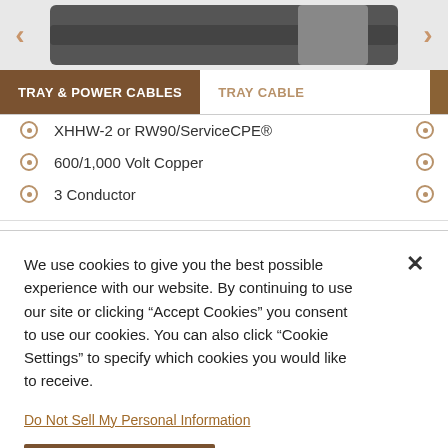[Figure (photo): Cable product image with left and right navigation arrows on a light gray background]
TRAY & POWER CABLES  TRAY CABLE
XHHW-2 or RW90/ServiceCPE®
600/1,000 Volt Copper
3 Conductor
We use cookies to give you the best possible experience with our website. By continuing to use our site or clicking “Accept Cookies” you consent to use our cookies. You can also click “Cookie Settings” to specify which cookies you would like to receive.
Do Not Sell My Personal Information
Accept Cookies